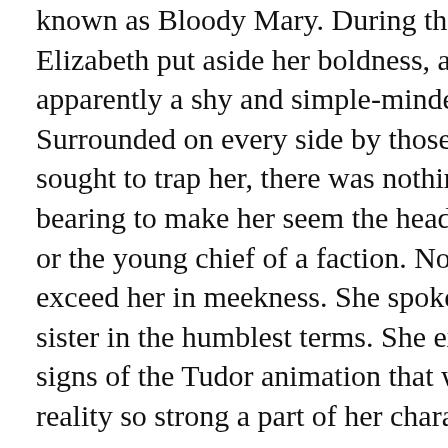known as Bloody Mary. During this time Elizabeth put aside her boldness, and became apparently a shy and simple-minded virgin. Surrounded on every side by those who sought to trap her, there was nothing in her bearing to make her seem the head of a party or the young chief of a faction. Nothing could exceed her in meekness. She spoke of her sister in the humblest terms. She exhibited no signs of the Tudor animation that was in reality so strong a part of her character.

But, coming to the throne, she threw away her modesty and brawled and rioted with very